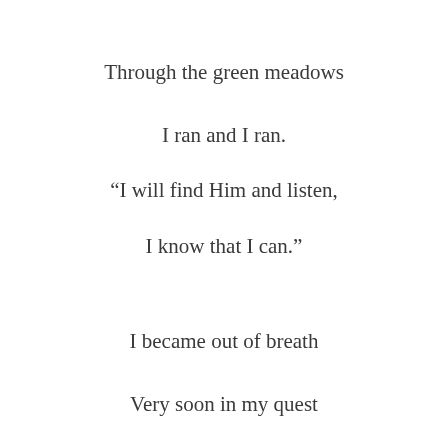Through the green meadows
I ran and I ran.
“I will find Him and listen,
I know that I can.”
I became out of breath
Very soon in my quest